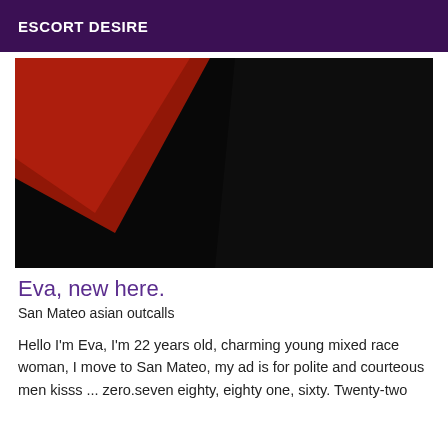ESCORT DESIRE
[Figure (photo): Mostly dark/black image with a red triangular shape in the upper left corner, likely a partial photo of a person or object with dramatic lighting.]
Eva, new here.
San Mateo asian outcalls
Hello I'm Eva, I'm 22 years old, charming young mixed race woman, I move to San Mateo, my ad is for polite and courteous men kisss ... zero.seven eighty, eighty one, sixty. Twenty-two